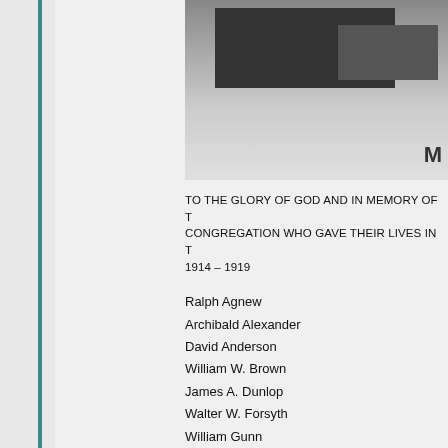[Figure (photo): Partial view of a memorial plaque or monument, showing a dark rectangular panel with text beginning with 'M', photographed against a light background]
TO THE GLORY OF GOD AND IN MEMORY OF T... CONGREGATION WHO GAVE THEIR LIVES IN T... 1914 – 1919
Ralph Agnew
Archibald Alexander
David Anderson
William W. Brown
James A. Dunlop
Walter W. Forsyth
William Gunn
Archibald T. Hendry
Robert S. Laidlaw
William R. McIndoe
George E. Main
William J. Maxwell
Robert D. Miller
James C.R. M...